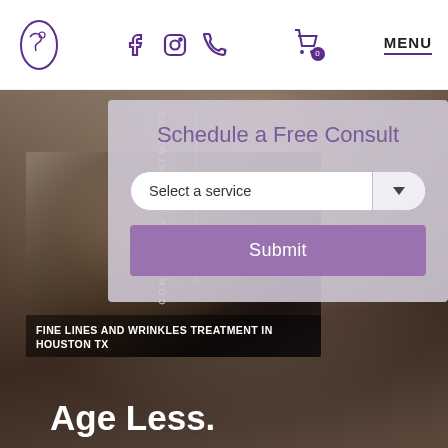[Figure (screenshot): Website header with purple logo, social media icons (Facebook, Instagram, phone), shopping cart with badge showing 0, and MENU button]
[Figure (photo): Hero background: close-up photo of a middle-aged man's face, slightly blurred]
CONDITIONS & TREATMENTS
[Figure (photo): Smaller inset portrait photo of a man with beard and wrinkles]
FINE LINES AND WRINKLES TREATMENT IN HOUSTON TX
Age Less.
Schedule a Free Consult
Select a service
Submit